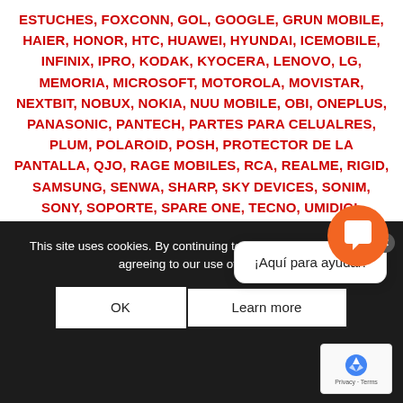ESTUCHES, FOXCONN, GOL, GOOGLE, GRUN MOBILE, HAIER, HONOR, HTC, HUAWEI, HYUNDAI, ICEMOBILE, INFINIX, IPRO, KODAK, KYOCERA, LENOVO, LG, MEMORIA, MICROSOFT, MOTOROLA, MOVISTAR, NEXTBIT, NOBUX, NOKIA, NUU MOBILE, OBI, ONEPLUS, PANASONIC, PANTECH, PARTES PARA CELUALRES, PLUM, POLAROID, POSH, PROTECTOR DE LA PANTALLA, QJO, RAGE MOBILES, RCA, REALME, RIGID, SAMSUNG, SENWA, SHARP, SKY DEVICES, SONIM, SONY, SOPORTE, SPARE ONE, TECNO, UMIDIGI, UNNECTO, WHOLESALE CELL PHONES - MAYORISTAS CELULARES | ATACADO, WIKO, XIAOMI, YE...
EXPO MOB...
[Figure (screenshot): Chat popup bubble saying '¡Aquí para ayudar!' with a close button, and an orange circular chat FAB button below it.]
[Figure (screenshot): Dark bottom section with cookie consent bar, OK and Learn more buttons, reCAPTCHA badge, and partially visible expo event imagery.]
This site uses cookies. By continuing to browse the site, you are agreeing to our use of cookies.